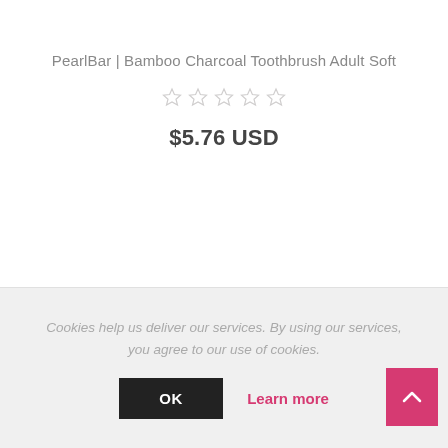PearlBar | Bamboo Charcoal Toothbrush Adult Soft
[Figure (other): Five empty star rating icons (no rating)]
$5.76 USD
Cookies help us deliver our services. By using our services, you agree to our use of cookies.
OK
Learn more